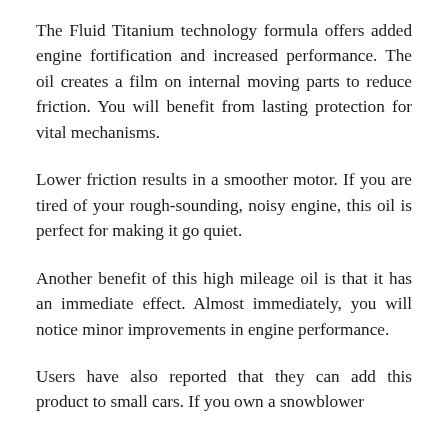The Fluid Titanium technology formula offers added engine fortification and increased performance. The oil creates a film on internal moving parts to reduce friction. You will benefit from lasting protection for vital mechanisms.
Lower friction results in a smoother motor. If you are tired of your rough-sounding, noisy engine, this oil is perfect for making it go quiet.
Another benefit of this high mileage oil is that it has an immediate effect. Almost immediately, you will notice minor improvements in engine performance.
Users have also reported that they can add this product to small cars. If you own a snowblower…